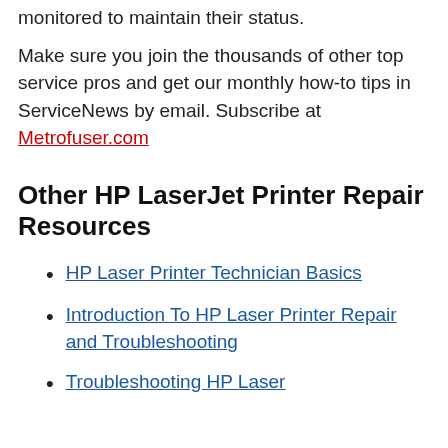monitored to maintain their status.
Make sure you join the thousands of other top service pros and get our monthly how-to tips in ServiceNews by email. Subscribe at Metrofuser.com
Other HP LaserJet Printer Repair Resources
HP Laser Printer Technician Basics
Introduction To HP Laser Printer Repair and Troubleshooting
Troubleshooting HP Laser